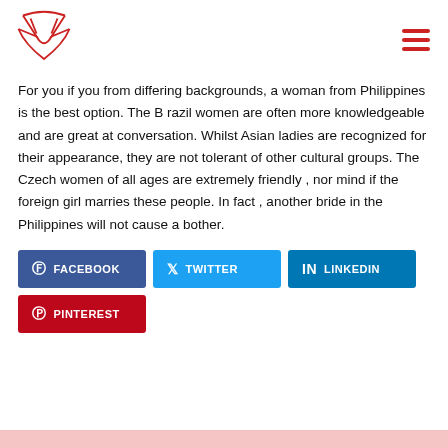[Figure (logo): Red fox outline logo]
For you if you from differing backgrounds, a woman from Philippines is the best option. The B razil women are often more knowledgeable and are great at conversation. Whilst Asian ladies are recognized for their appearance, they are not tolerant of other cultural groups. The Czech women of all ages are extremely friendly , nor mind if the foreign girl marries these people. In fact , another bride in the Philippines will not cause a bother.
[Figure (infographic): Social share buttons: FACEBOOK, TWITTER, LINKEDIN, PINTEREST]